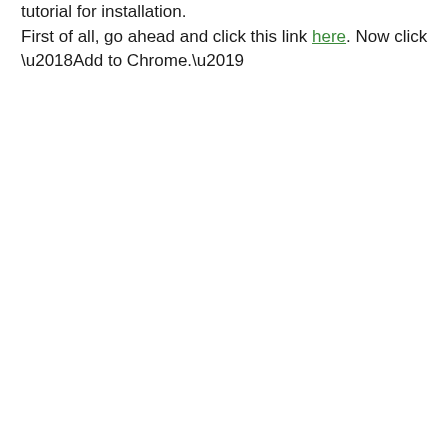tutorial for installation.
First of all, go ahead and click this link here. Now click ‘Add to Chrome.’